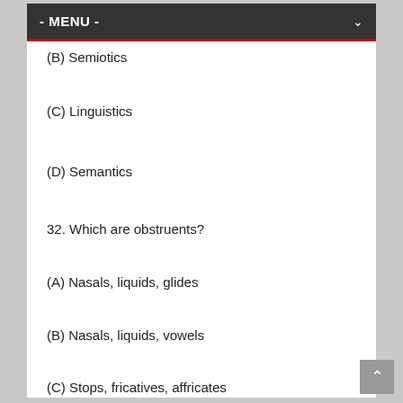- MENU -
(B) Semiotics
(C) Linguistics
(D) Semantics
32. Which are obstruents?
(A) Nasals, liquids, glides
(B) Nasals, liquids, vowels
(C) Stops, fricatives, affricates
(D) Stops, glottals, fricatives
33. What is kinesics?